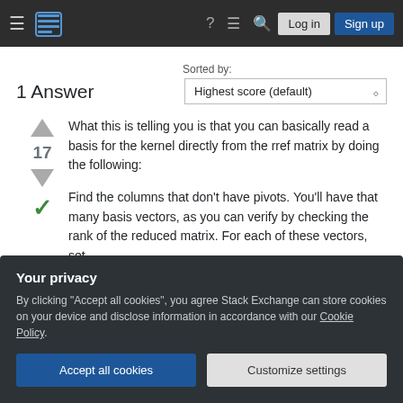Stack Exchange navigation bar with hamburger menu, logo, help, chat, search, Log in, Sign up
Sorted by:
1 Answer
Highest score (default)
What this is telling you is that you can basically read a basis for the kernel directly from the rref matrix by doing the following:
Find the columns that don't have pivots. You'll have that many basis vectors, as you can verify by checking the rank of the reduced matrix. For each of these vectors, set
Your privacy
By clicking "Accept all cookies", you agree Stack Exchange can store cookies on your device and disclose information in accordance with our Cookie Policy.
Accept all cookies
Customize settings